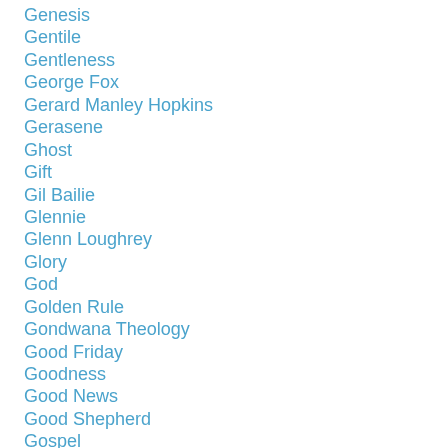Genesis
Gentile
Gentleness
George Fox
Gerard Manley Hopkins
Gerasene
Ghost
Gift
Gil Bailie
Glennie
Glenn Loughrey
Glory
God
Golden Rule
Gondwana Theology
Good Friday
Goodness
Good News
Good Shepherd
Gospel
Grace